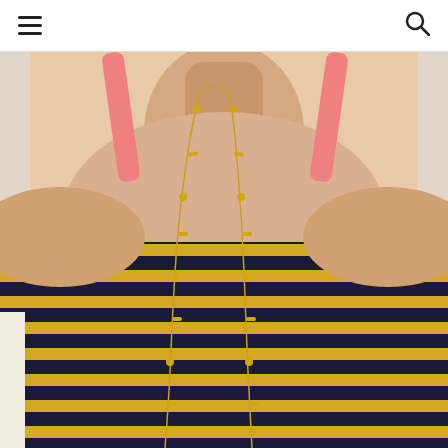Navigation header with hamburger menu and search icon
[Figure (photo): Close-up photo of a woman wearing a long gold chain necklace with bead accents, over a navy and yellow horizontal striped off-shoulder top with a coral/pink bra strap visible. The photo is cropped to show the neckline and chest area.]